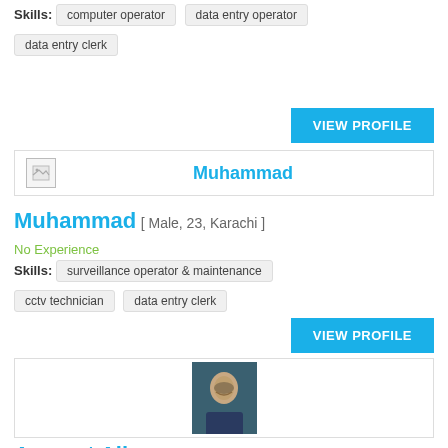Skills: computer operator   data entry operator   data entry clerk
[Figure (other): VIEW PROFILE button (blue)]
| Muhammad |
Muhammad [ Male, 23, Karachi ]
No Experience
Skills: surveillance operator & maintenance   cctv technician   data entry clerk
[Figure (other): VIEW PROFILE button (blue)]
[Figure (photo): Photo of Amanat Ali, male, facing camera, dark background]
Amanat Ali [ Male, 30, Chunian ]
Different OS Installation
74 Years
BSc - BZU Multan, Multan